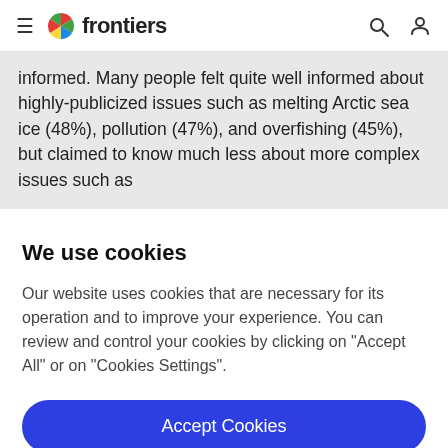frontiers
informed. Many people felt quite well informed about highly-publicized issues such as melting Arctic sea ice (48%), pollution (47%), and overfishing (45%), but claimed to know much less about more complex issues such as
We use cookies
Our website uses cookies that are necessary for its operation and to improve your experience. You can review and control your cookies by clicking on "Accept All" or on "Cookies Settings".
Accept Cookies
Cookies Settings